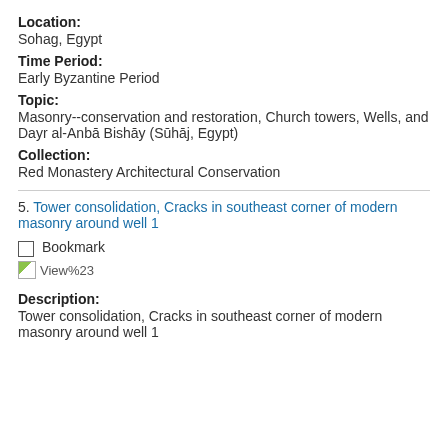Location:
Sohag, Egypt
Time Period:
Early Byzantine Period
Topic:
Masonry--conservation and restoration, Church towers, Wells, and Dayr al-Anbā Bishāy (Sūhāj, Egypt)
Collection:
Red Monastery Architectural Conservation
5. Tower consolidation, Cracks in southeast corner of modern masonry around well 1
Bookmark
View%23
Description:
Tower consolidation, Cracks in southeast corner of modern masonry around well 1